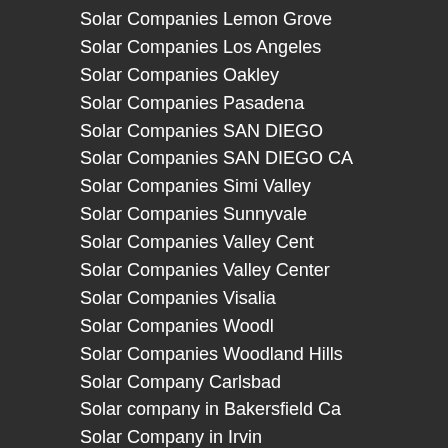Solar Companies Lemon Grove
Solar Companies Los Angeles
Solar Companies Oakley
Solar Companies Pasadena
Solar Companies SAN DIEGO
Solar Companies SAN DIEGO CA
Solar Companies Simi Valley
Solar Companies Sunnyvale
Solar Companies Valley Cent
Solar Companies Valley Center
Solar Companies Visalia
Solar Companies Woodl
Solar Companies Woodland Hills
Solar Company Carlsbad
Solar company in Bakersfield Ca
Solar Company in Irvin
solar company in san diego